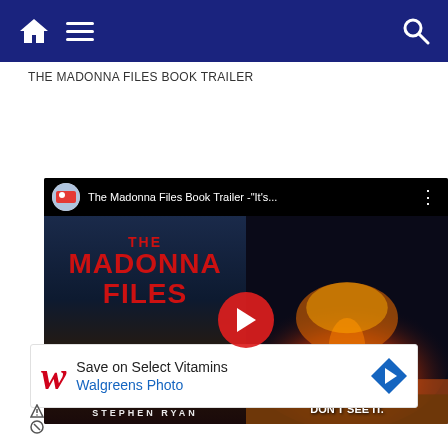Navigation bar with home, menu, and search icons
THE MADONNA FILES BOOK TRAILER
[Figure (screenshot): YouTube video thumbnail for 'The Madonna Files Book Trailer - "It's...' showing book cover on left with red text THE MADONNA FILES and author STEPHEN RYAN, and right side showing explosion with yellow text '"THE MOST PROPHECTIC BOOK OF OUR TIMES"' and white text 'IT HAS ALREADY STARTED BUT PEOPLE DON'T SEE IT.' with a red YouTube play button overlay]
[Figure (screenshot): Walgreens advertisement: Save on Select Vitamins, Walgreens Photo, with red W logo and blue navigation arrow icon, plus ad disclaimer icons]